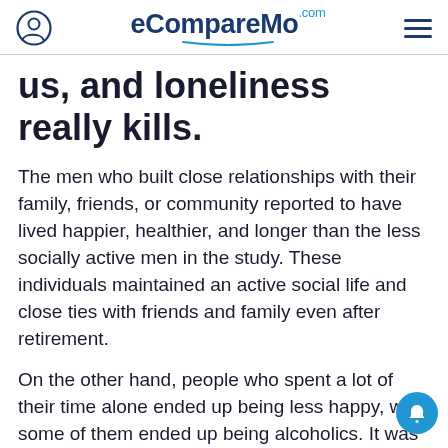eCompareMo.com
us, and loneliness really kills.
The men who built close relationships with their family, friends, or community reported to have lived happier, healthier, and longer than the less socially active men in the study. These individuals maintained an active social life and close ties with friends and family even after retirement.
On the other hand, people who spent a lot of their time alone ended up being less happy, with some of them ended up being alcoholics. It was the greatest contributor in the decline